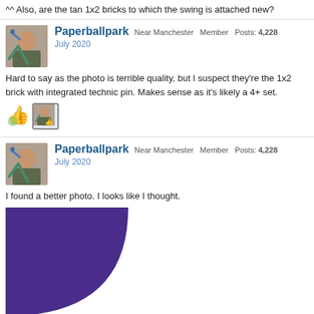^^ Also, are the tan 1x2 bricks to which the swing is attached new?
Paperballpark Near Manchester Member Posts: 4,228
July 2020
Hard to say as the photo is terrible quality, but I suspect they're the 1x2 brick with integrated technic pin. Makes sense as it's likely a 4+ set.
[Figure (illustration): Two reaction/like icons side by side]
Paperballpark Near Manchester Member Posts: 4,228
July 2020
I found a better photo. I looks like I thought.
[Figure (photo): Partial photo showing a purple/dark blue LEGO brick or element against white background, cropped showing upper-left corner area with curved shape]